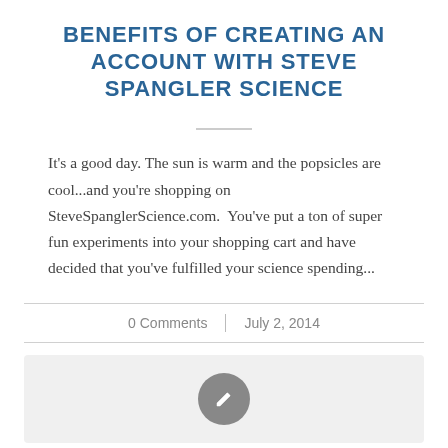BENEFITS OF CREATING AN ACCOUNT WITH STEVE SPANGLER SCIENCE
It's a good day. The sun is warm and the popsicles are cool...and you're shopping on SteveSpanglerScience.com.  You've put a ton of super fun experiments into your shopping cart and have decided that you've fulfilled your science spending...
0 Comments  |  July 2, 2014
[Figure (other): A rounded rectangle box with a grey background containing a grey circle with a white pencil/edit icon in the center.]